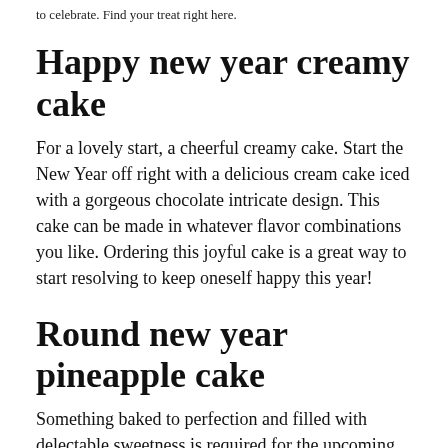to celebrate. Find your treat right here.
Happy new year creamy cake
For a lovely start, a cheerful creamy cake. Start the New Year off right with a delicious cream cake iced with a gorgeous chocolate intricate design. This cake can be made in whatever flavor combinations you like. Ordering this joyful cake is a great way to start resolving to keep oneself happy this year!
Round new year pineapple cake
Something baked to perfection and filled with delectable sweetness is required for the upcoming New Year's celebrations! With great zeal, I greet the